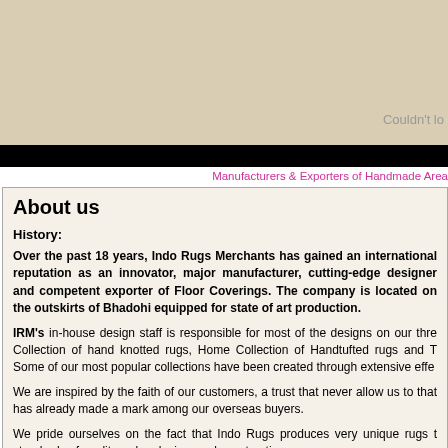[Figure (other): Header background area in tan/beige color with 'Couldn't lo' text partially visible at right]
Couldn't lo
Manufacturers & Exporters of Handmade Area
About us
History:
Over the past 18 years, Indo Rugs Merchants has gained an international reputation as an innovator, major manufacturer, cutting-edge designer and competent exporter of Floor Coverings. The company is located on the outskirts of Bhadohi equipped for state of art production.
IRM's in-house design staff is responsible for most of the designs on our three lines: Traditional Collection of hand knotted rugs, Home Collection of Handtufted rugs and Tribal/Contemporary. Some of our most popular collections have been created through extensive efforts.
We are inspired by the faith of our customers, a trust that never allow us to compromise on quality that has already made a mark among our overseas buyers.
We pride ourselves on the fact that Indo Rugs produces very unique rugs that meet the highest standards of quality, color, design, and construction.